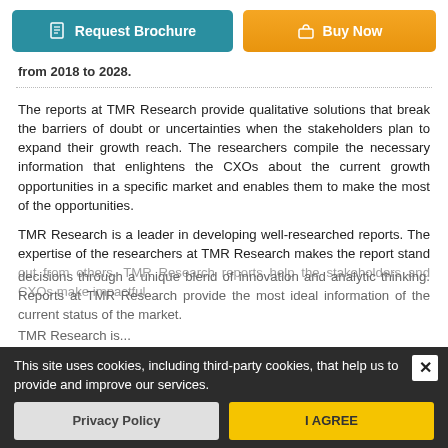Request Brochure | Buy Now
from 2018 to 2028.
The reports at TMR Research provide qualitative solutions that break the barriers of doubt or uncertainties when the stakeholders plan to expand their growth reach. The researchers compile the necessary information that enlightens the CXOs about the current growth opportunities in a specific market and enables them to make the most of the opportunities.
TMR Research is a leader in developing well-researched reports. The expertise of the researchers at TMR Research makes the report stand out from others. TMR Research reports help the stakeholders and CXOs make impactful decisions through a unique blend of innovation and analytic thinking. Reports at TMR Research provide the most ideal information of the current status of the market.
This site uses cookies, including third-party cookies, that help us to provide and improve our services.